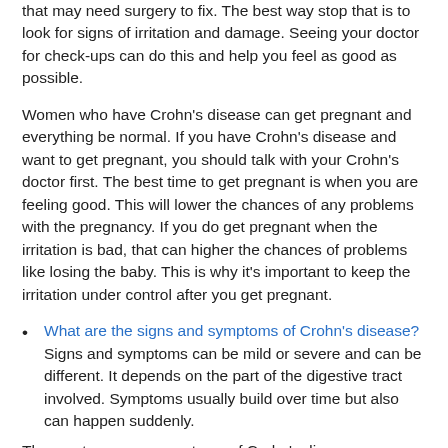that may need surgery to fix. The best way stop that is to look for signs of irritation and damage. Seeing your doctor for check-ups can do this and help you feel as good as possible.
Women who have Crohn's disease can get pregnant and everything be normal. If you have Crohn's disease and want to get pregnant, you should talk with your Crohn's doctor first. The best time to get pregnant is when you are feeling good. This will lower the chances of any problems with the pregnancy. If you do get pregnant when the irritation is bad, that can higher the chances of problems like losing the baby. This is why it's important to keep the irritation under control after you get pregnant.
What are the signs and symptoms of Crohn's disease? Signs and symptoms can be mild or severe and can be different. It depends on the part of the digestive tract involved. Symptoms usually build over time but also can happen suddenly.
The most common symptoms of Crohn's disease are: